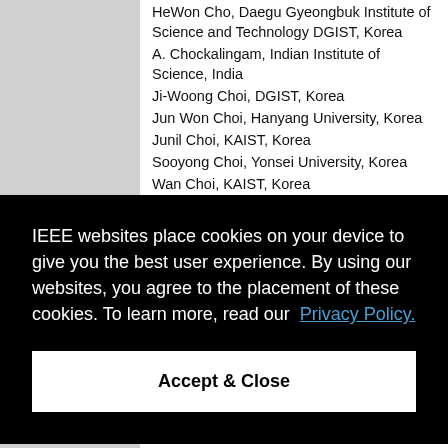HeWon Cho, Daegu Gyeongbuk Institute of Science and Technology DGIST, Korea
A. Chockalingam, Indian Institute of Science, India
Ji-Woong Choi, DGIST, Korea
Jun Won Choi, Hanyang University, Korea
Junil Choi, KAIST, Korea
Sooyong Choi, Yonsei University, Korea
Wan Choi, KAIST, Korea
Domenico Ciuonzo, University of Naples
IEEE websites place cookies on your device to give you the best user experience. By using our websites, you agree to the placement of these cookies. To learn more, read our Privacy Policy.
Accept & Close
Piraeus, Greece